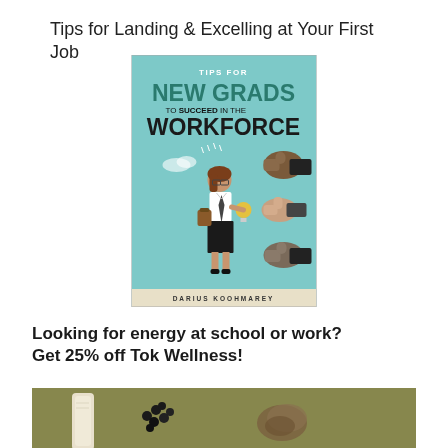Tips for Landing & Excelling at Your First Job
[Figure (illustration): Book cover titled 'Tips for New Grads to Succeed in the Workforce' by Darius Koohmarey. Teal/light blue background with illustration of a young woman in business attire holding a light bulb, surrounded by multiple thumbs-up hands.]
Looking for energy at school or work? Get 25% off Tok Wellness!
[Figure (photo): Partial photo on olive/khaki green background showing what appears to be wellness or food products including a white item and dark seeds/berries.]